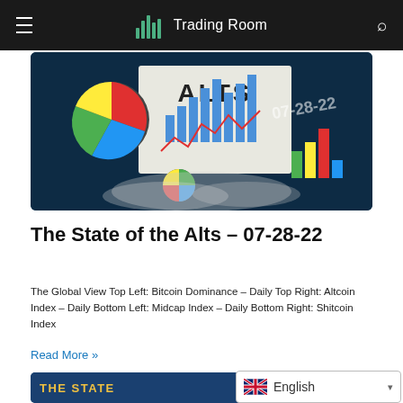Trading Room
[Figure (photo): Financial charts and graphs including a colorful pie chart and bar charts with text 'ALTS' and date '07-28-22' on dark blue background with smoke effect]
The State of the Alts – 07-28-22
The Global View Top Left: Bitcoin Dominance – Daily Top Right: Altcoin Index – Daily Bottom Left: Midcap Index – Daily Bottom Right: Shitcoin Index
Read More »
[Figure (photo): Partial bottom image with 'THE STATE' text on dark blue background]